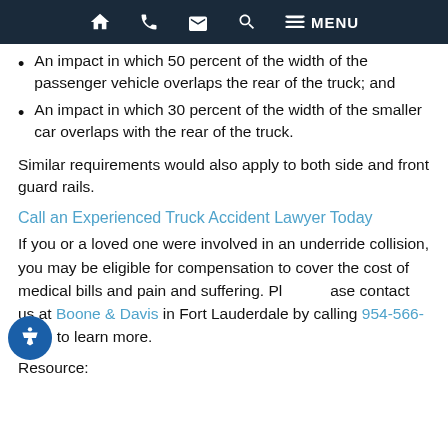Home | Phone | Email | Search | MENU
An impact in which 50 percent of the width of the passenger vehicle overlaps the rear of the truck; and
An impact in which 30 percent of the width of the smaller car overlaps with the rear of the truck.
Similar requirements would also apply to both side and front guard rails.
Call an Experienced Truck Accident Lawyer Today
If you or a loved one were involved in an underride collision, you may be eligible for compensation to cover the cost of medical bills and pain and suffering. Please contact us at Boone & Davis in Fort Lauderdale by calling 954-566-9919 to learn more.
Resource: